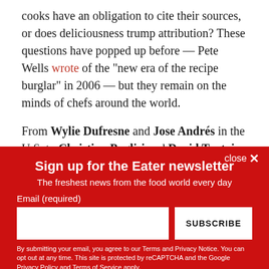cooks have an obligation to cite their sources, or does deliciousness trump attribution? These questions have popped up before — Pete Wells wrote of the "new era of the recipe burglar" in 2006 — but they remain on the minds of chefs around the world.
From Wylie Dufresne and Jose Andrés in the U.S. to Christian Puglisi and David Toutain in Europe, chefs have
[Figure (screenshot): Newsletter signup overlay on a red background. Title: 'Sign up for the Eater newsletter'. Subtitle: 'The freshest news from the food world every day'. Email input field and SUBSCRIBE button. Fine print about Terms and Privacy Notice.]